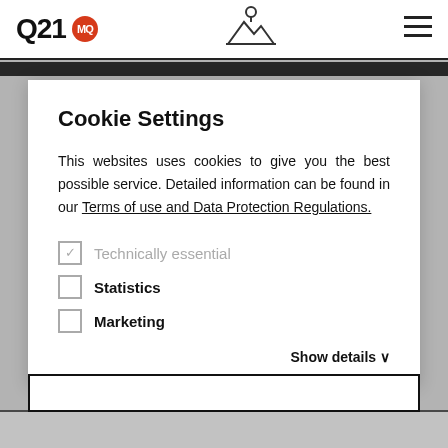Q21 MQ
Cookie Settings
This websites uses cookies to give you the best possible service. Detailed information can be found in our Terms of use and Data Protection Regulations.
✓ Technically essential
☐ Statistics
☐ Marketing
Show details ∨